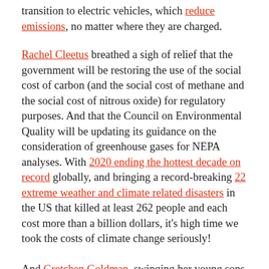transition to electric vehicles, which reduce emissions, no matter where they are charged.
Rachel Cleetus breathed a sigh of relief that the government will be restoring the use of the social cost of carbon (and the social cost of methane and the social cost of nitrous oxide) for regulatory purposes. And that the Council on Environmental Quality will be updating its guidance on the consideration of greenhouse gases for NEPA analyses. With 2020 ending the hottest decade on record globally, and bringing a record-breaking 22 extreme weather and climate related disasters in the US that killed at least 262 people and each cost more than a billion dollars, it's high time we took the costs of climate change seriously!
And Gretchen Goldman, swinging her young sons in the